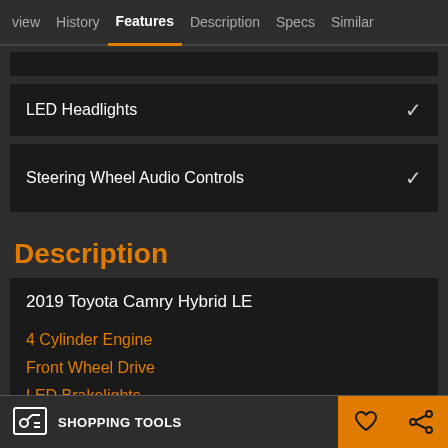view | History | Features | Description | Specs | Similar
LED Headlights ✓
Steering Wheel Audio Controls ✓
Description
2019 Toyota Camry Hybrid LE
4 Cylinder Engine
Front Wheel Drive
LED Brakelights
SHOPPING TOOLS